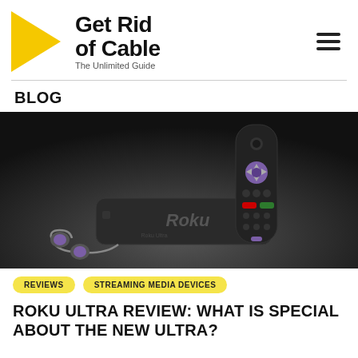Get Rid of Cable — The Unlimited Guide
BLOG
[Figure (photo): Roku Ultra streaming device (black box) with Roku remote control featuring a purple D-pad and shortcut buttons, plus purple earbuds, all on a dark gradient background.]
REVIEWS   STREAMING MEDIA DEVICES
ROKU ULTRA REVIEW: WHAT IS SPECIAL ABOUT THE NEW ULTRA?